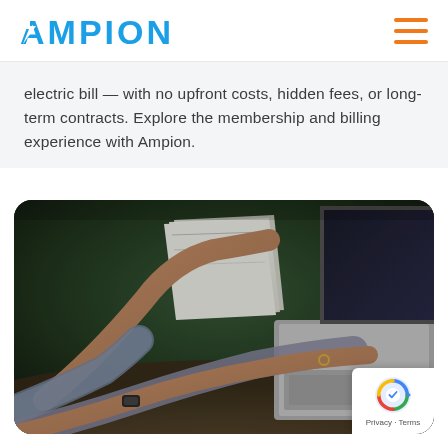AMPION
electric bill — with no upfront costs, hidden fees, or long-term contracts. Explore the membership and billing experience with Ampion.
[Figure (photo): Two people reviewing papers and using a laptop computer, photographed from above at an angle showing their hands and arms. One person holds white paper documents while the other types on a laptop keyboard. Dark background setting.]